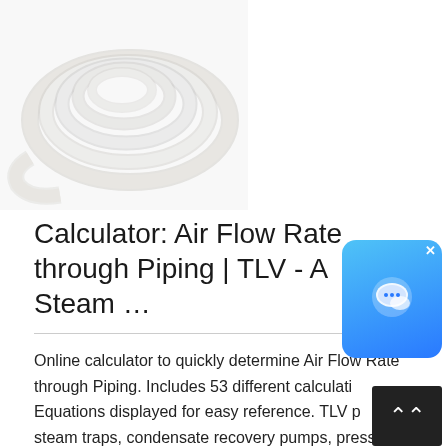[Figure (photo): Coiled white flexible tubing/piping on a white background]
Calculator: Air Flow Rate through Piping | TLV - A Steam ...
Online calculator to quickly determine Air Flow Rate through Piping. Includes 53 different calculati... Equations displayed for easy reference. TLV p...es steam traps, condensate recovery pumps, pressure reducing valves and other steam-related equipment. We